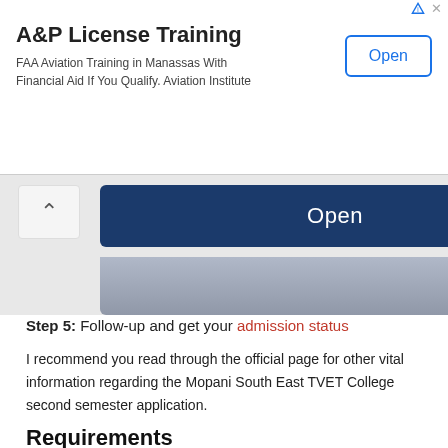[Figure (screenshot): Advertisement banner for A&P License Training. Shows title 'A&P License Training', description 'FAA Aviation Training in Manassas With Financial Aid If You Qualify. Aviation Institute', and an 'Open' button.]
[Figure (screenshot): UI screenshot showing a dark blue 'Open' button with a chevron/back arrow on the left and a gradient panel below.]
Step 5: Follow-up and get your admission status
I recommend you read through the official page for other vital information regarding the Mopani South East TVET College second semester application.
Requirements
you will need;
Internet access.